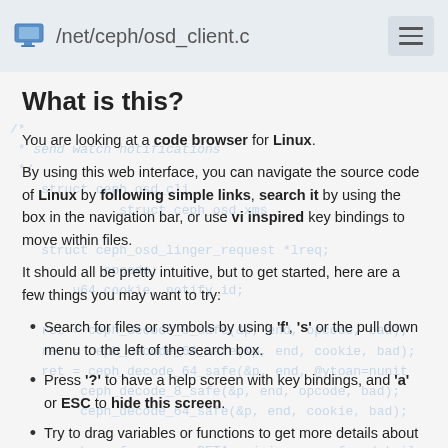/net/ceph/osd_client.c
What is this?
You are looking at a code browser for Linux.
By using this web interface, you can navigate the source code of Linux by following simple links, search it by using the box in the navigation bar, or use vi inspired key bindings to move within files.
It should all be pretty intuitive, but to get started, here are a few things you may want to try:
Search for files or symbols by using 'f', 's' or the pull down menu to the left of the search box.
Press '?' to have a help screen with key bindings, and 'a' or ESC to hide this screen.
Try to drag variables or functions to get more details about them.
This site was generated via sbexr, which uses LLVM and clang to parse and index the code.
sbexr is free software (as in "free speech"), under heavy development, sbexr.be, and the Linux kernel source code